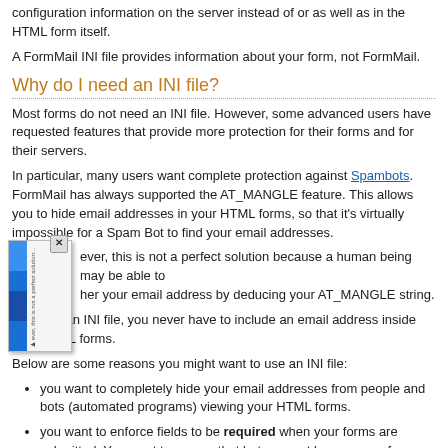configuration information on the server instead of or as well as in the HTML form itself.
A FormMail INI file provides information about your form, not FormMail.
Why do I need an INI file?
Most forms do not need an INI file. However, some advanced users have requested features that provide more protection for their forms and for their servers.
In particular, many users want complete protection against Spambots. FormMail has always supported the AT_MANGLE feature. This allows you to hide email addresses in your HTML forms, so that it's virtually impossible for a Spam Bot to find your email addresses.
However, this is not a perfect solution because a human being may be able to gather your email address by deducing your AT_MANGLE string.
By using an INI file, you never have to include an email address inside your HTML forms.
Below are some reasons you might want to use an INI file:
you want to completely hide your email addresses from people and bots (automated programs) viewing your HTML forms.
you want to enforce fields to be required when your forms are submitted. You want to ensure that bots cannot bypass your form validations.
you want to guarantee that no malicious person or bot can submit forms in a way that can annoy you or put junk into your databases or CSV files.